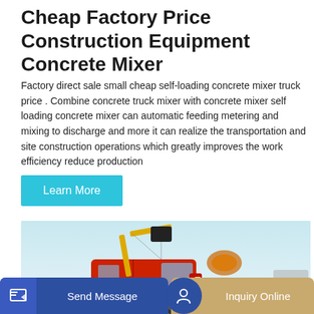Cheap Factory Price Construction Equipment Concrete Mixer
Factory direct sale small cheap self-loading concrete mixer truck price . Combine concrete truck mixer with concrete mixer self loading concrete mixer can automatic feeding metering and mixing to discharge and more it can realize the transportation and site construction operations which greatly improves the work efficiency reduce production
Learn More
[Figure (photo): Photo of a red concrete mixer truck with yellow crane arm attachment against a light blue sky background]
Send Message
Inquiry Online